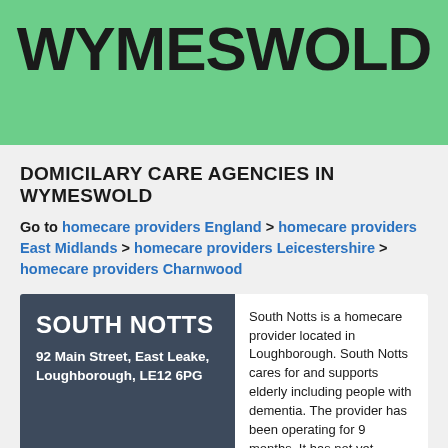WYMESWOLD
DOMICILARY CARE AGENCIES IN WYMESWOLD
Go to homecare providers England > homecare providers East Midlands > homecare providers Leicestershire > homecare providers Charnwood
SOUTH NOTTS
92 Main Street, East Leake, Loughborough, LE12 6PG
South Notts is a homecare provider located in Loughborough. South Notts cares for and supports elderly including people with dementia. The provider has been operating for 9 months. It has not yet received a report